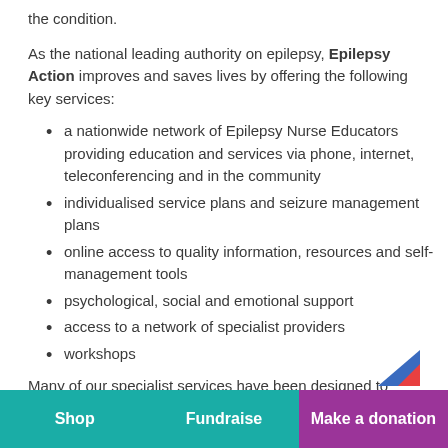the condition.
As the national leading authority on epilepsy, Epilepsy Action improves and saves lives by offering the following key services:
a nationwide network of Epilepsy Nurse Educators providing education and services via phone, internet, teleconferencing and in the community
individualised service plans and seizure management plans
online access to quality information, resources and self-management tools
psychological, social and emotional support
access to a network of specialist providers
workshops
Many of our specialist services have been designed to cater to the needs of specific groups: children, parents, newly diagnosed, teenagers, seniors, disability workers and Indigenous Australians.
Leading Education and Training
Shop | Fundraise | Make a donation